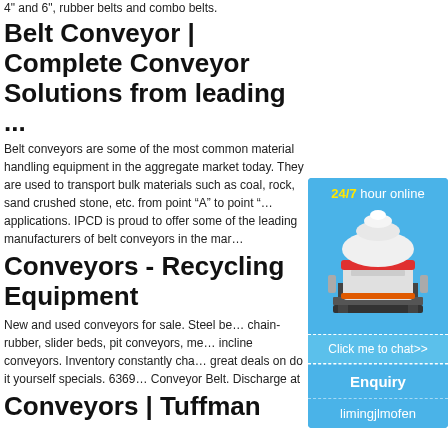4" and 6", rubber belts and combo belts.
Belt Conveyor | Complete Conveyor Solutions from leading ...
Belt conveyors are some of the most common material handling equipment in the aggregate market today. They are used to transport bulk materials such as coal, rock, sand crushed stone, etc. from point “A” to point “…” applications. IPCD is proud to offer some of the leading manufacturers of belt conveyors in the mar…
Conveyors - Recycling Equipment
New and used conveyors for sale. Steel be… chain-rubber, slider beds, pit conveyors, me… incline conveyors. Inventory constantly cha… great deals on do it yourself specials. 6369… Conveyor Belt. Discharge at
Conveyors | Tuffman
[Figure (other): Advertisement widget with blue background showing a cone crusher machine image, '24/7 hour online' header text, 'Click me to chat>>' button, 'Enquiry' section, and 'limingjlmofen' text at bottom.]